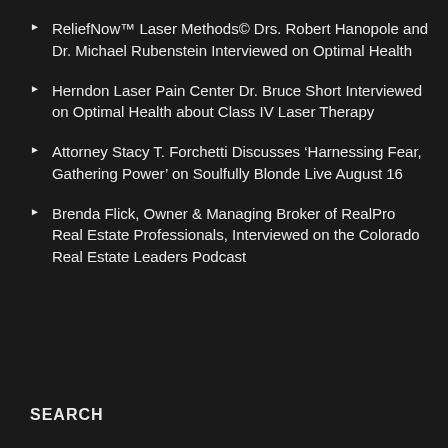ReliefNow™ Laser Methods© Drs. Robert Hanopole and Dr. Michael Rubenstein Interviewed on Optimal Health
Herndon Laser Pain Center Dr. Bruce Short Interviewed on Optimal Health about Class IV Laser Therapy
Attorney Stacy T. Forchetti Discusses 'Harnessing Fear, Gathering Power' on Soulfully Blonde Live August 16
Brenda Flick, Owner & Managing Broker of RealPro Real Estate Professionals, Interviewed on the Colorado Real Estate Leaders Podcast
SEARCH